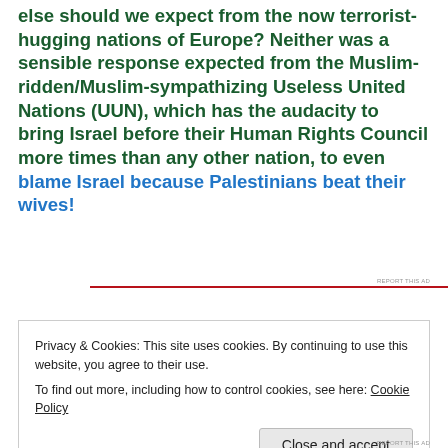else should we expect from the now terrorist-hugging nations of Europe? Neither was a sensible response expected from the Muslim-ridden/Muslim-sympathizing Useless United Nations (UUN), which has the audacity to bring Israel before their Human Rights Council more times than any other nation, to even blame Israel because Palestinians beat their wives!
REPORT THIS AD
Privacy & Cookies: This site uses cookies. By continuing to use this website, you agree to their use.
To find out more, including how to control cookies, see here: Cookie Policy
Close and accept
REPORT THIS AD